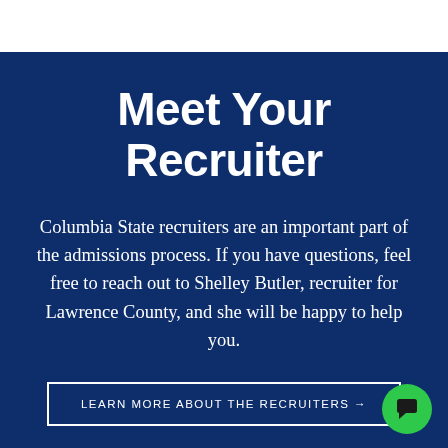Meet Your Recruiter
Columbia State recruiters are an important part of the admissions process. If you have questions, feel free to reach out to Shelley Butler, recruiter for Lawrence County, and she will be happy to help you.
LEARN MORE ABOUT THE RECRUITERS →